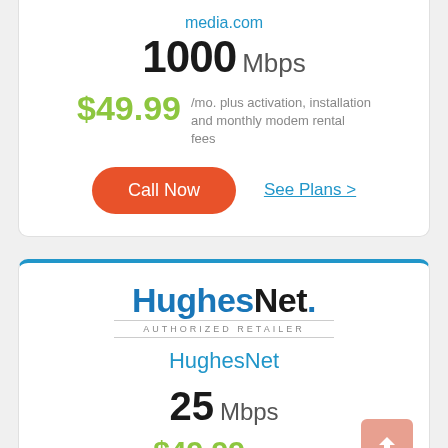media.com
1000 Mbps
$49.99 /mo. plus activation, installation and monthly modem rental fees
Call Now
See Plans >
[Figure (logo): HughesNet Authorized Retailer logo]
HughesNet
25 Mbps
$49.99 /month